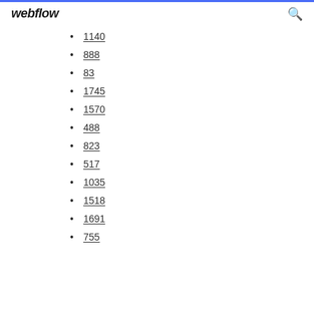webflow
1140
888
83
1745
1570
488
823
517
1035
1518
1691
755